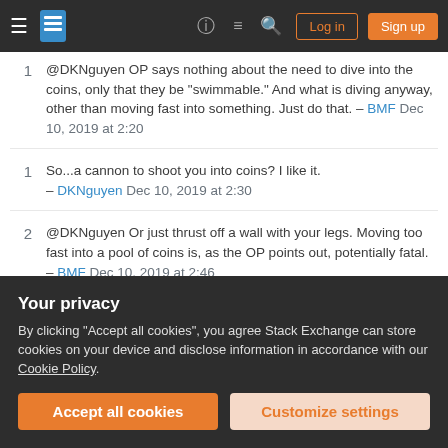Stack Exchange navigation bar with Log in and Sign up buttons
@DKNguyen OP says nothing about the need to dive into the coins, only that they be "swimmable." And what is diving anyway, other than moving fast into something. Just do that. – BMF Dec 10, 2019 at 2:20
So...a cannon to shoot you into coins? I like it. – DKNguyen Dec 10, 2019 at 2:30
@DKNguyen Or just thrust off a wall with your legs. Moving too fast into a pool of coins is, as the OP points out, potentially fatal. – BMF Dec 10, 2019 at 2:46
Use my legs like a peasant? No thank you. I'll stick with my cannon. – DKNguyen Dec 10, 2019 at 3:00
Your privacy
By clicking "Accept all cookies", you agree Stack Exchange can store cookies on your device and disclose information in accordance with our Cookie Policy.